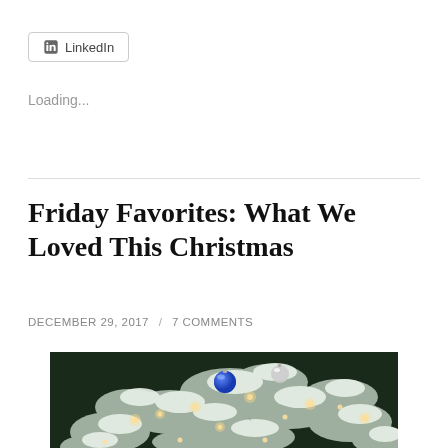LinkedIn
Loading...
Friday Favorites: What We Loved This Christmas
DECEMBER 29, 2017 / 7 COMMENTS
[Figure (photo): Close-up photo of a flocked Christmas tree with blue and silver ornament balls and warm string lights]